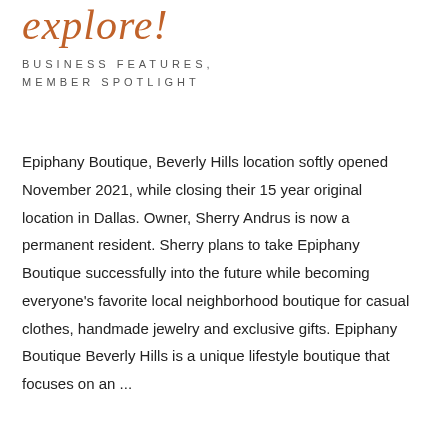explore!
BUSINESS FEATURES, MEMBER SPOTLIGHT
Epiphany Boutique, Beverly Hills location softly opened November 2021, while closing their 15 year original location in Dallas. Owner, Sherry Andrus is now a permanent resident. Sherry plans to take Epiphany Boutique successfully into the future while becoming everyone's favorite local neighborhood boutique for casual clothes, handmade jewelry and exclusive gifts. Epiphany Boutique Beverly Hills is a unique lifestyle boutique that focuses on an ...